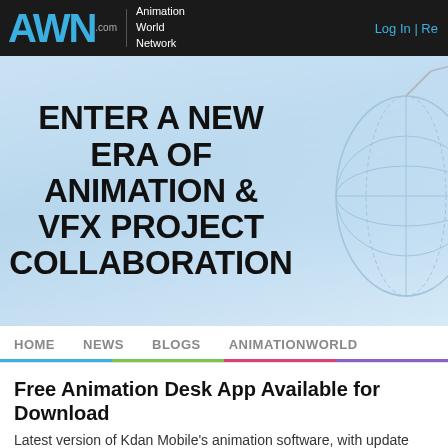AWN.com | Animation World Network | Log In | Re
[Figure (illustration): Banner advertisement with sky/cloud background and globe element on right. Large bold text reads: ENTER A NEW ERA OF ANIMATION & VFX PROJECT COLLABORATION]
HOME  NEWS  BLOGS  ANIMATIONWORLD
Free Animation Desk App Available for Download
Latest version of Kdan Mobile's animation software, with update